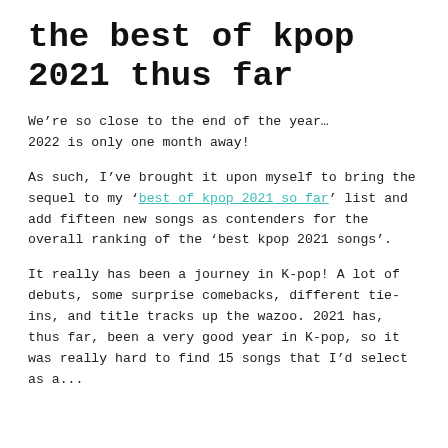the best of kpop 2021 thus far
We’re so close to the end of the year… 2022 is only one month away!
As such, I’ve brought it upon myself to bring the sequel to my ‘best of kpop 2021 so far’ list and add fifteen new songs as contenders for the overall ranking of the ‘best kpop 2021 songs’.
It really has been a journey in K-pop! A lot of debuts, some surprise comebacks, different tie-ins, and title tracks up the wazoo. 2021 has, thus far, been a very good year in K-pop, so it was really hard to find 15 songs that I’d select as a...